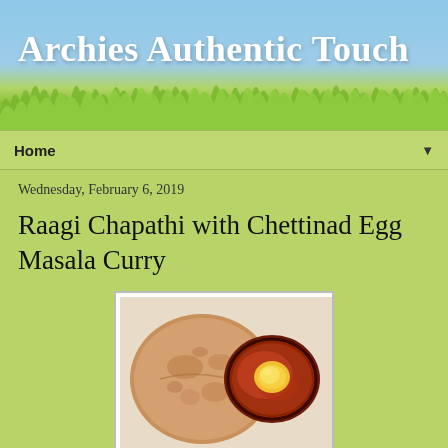Archies Authentic Touch
Home
Wednesday, February 6, 2019
Raagi Chapathi with Chettinad Egg Masala Curry
[Figure (photo): Photo of Raagi Chapathi (flatbread) alongside Chettinad Egg Masala Curry in a bowl, served on a white surface]